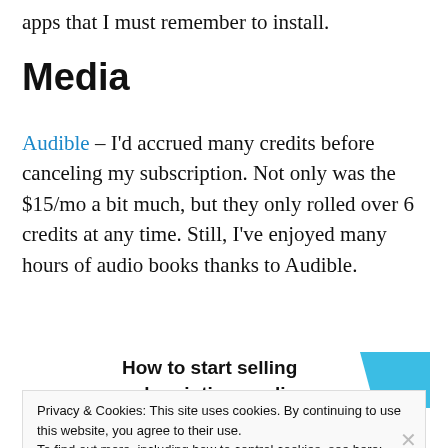apps that I must remember to install.
Media
Audible – I'd accrued many credits before canceling my subscription. Not only was the $15/mo a bit much, but they only rolled over 6 credits at any time. Still, I've enjoyed many hours of audio books thanks to Audible.
[Figure (screenshot): Advertisement banner: 'How to start selling subscriptions online' with a blue geometric shape]
Privacy & Cookies: This site uses cookies. By continuing to use this website, you agree to their use.
To find out more, including how to control cookies, see here: Cookie Policy